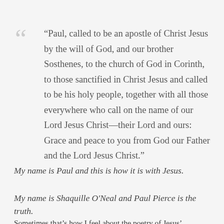“Paul, called to be an apostle of Christ Jesus by the will of God, and our brother Sosthenes, to the church of God in Corinth, to those sanctified in Christ Jesus and called to be his holy people, together with all those everywhere who call on the name of our Lord Jesus Christ—their Lord and ours: Grace and peace to you from God our Father and the Lord Jesus Christ.”
My name is Paul and this is how it is with Jesus.
My name is Shaquille O'Neal and Paul Pierce is the truth.
Sometimes that’s how I feel about the poetry of Jesus’